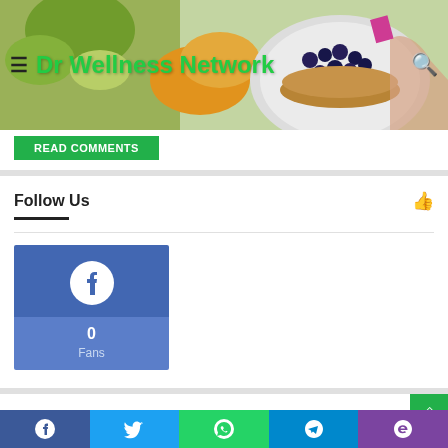[Figure (screenshot): Website header with food photo background showing blueberries, kiwi, mango and pancakes on plates. Dr Wellness Network logo/title in green text with hamburger menu icon on left and search icon on right.]
READ COMMENTS
Follow Us
[Figure (infographic): Facebook follow widget: blue box with Facebook icon on top half, lighter blue bottom half showing 0 Fans]
Recent Posts